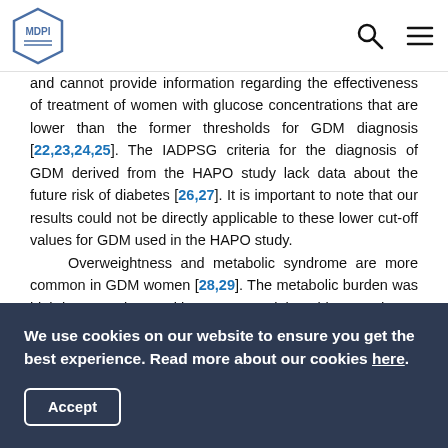MDPI
and cannot provide information regarding the effectiveness of treatment of women with glucose concentrations that are lower than the former thresholds for GDM diagnosis [22,23,24,25]. The IADPSG criteria for the diagnosis of GDM derived from the HAPO study lack data about the future risk of diabetes [26,27]. It is important to note that our results could not be directly applicable to these lower cut-off values for GDM used in the HAPO study.

Overweightness and metabolic syndrome are more common in GDM women [28,29]. The metabolic burden was high in our patients, with 33% overweight subjects and 43% obese individuals at follow-up. This high prevalence of
We use cookies on our website to ensure you get the best experience. Read more about our cookies here.
Accept